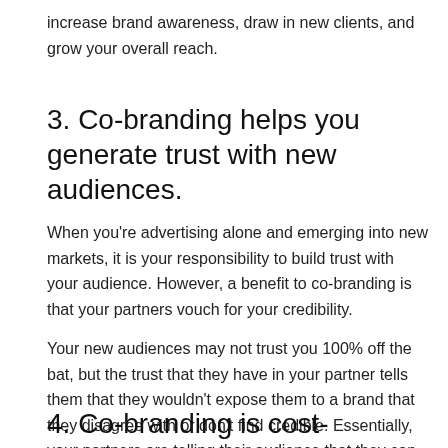increase brand awareness, draw in new clients, and grow your overall reach.
3. Co-branding helps you generate trust with new audiences.
When you're advertising alone and emerging into new markets, it is your responsibility to build trust with your audience. However, a benefit to co-branding is that your partners vouch for your credibility.
Your new audiences may not trust you 100% off the bat, but the trust that they have in your partner tells them that they wouldn't expose them to a brand that they disagree with or don't find credible. Essentially, your partners are telling their audience that they can trust you because they trust you.
4. Co-branding is cost-effective